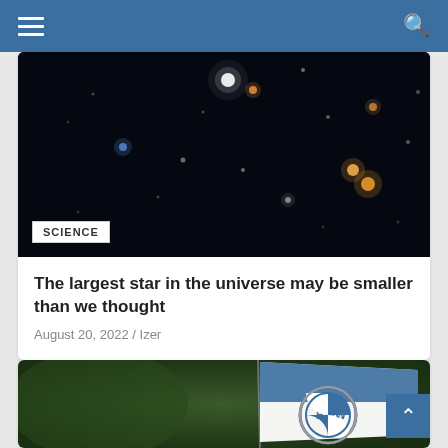Navigation bar with hamburger menu and search icon
[Figure (photo): Deep space photograph showing stars and galaxies against a black background, with colorful light points in white, blue, orange, and yellow hues. A white label badge reading 'SCIENCE' is overlaid in the bottom-left corner.]
The largest star in the universe may be smaller than we thought
August 20, 2022 / Izer
[Figure (photo): Partial view of a BMW flag/banner with the BMW logo visible, against a blurred green background. A back-to-top navigation button (chevron up arrow) is visible in the top-right corner of the image area.]